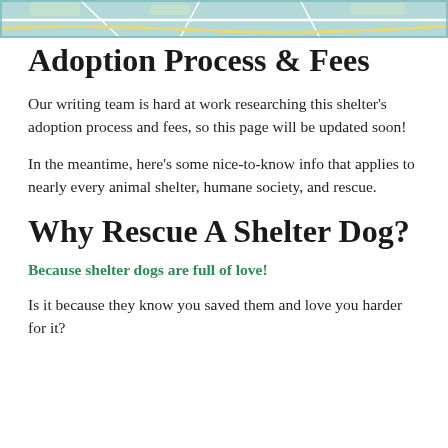[Figure (map): Partial map strip at the top of the page showing street/terrain map with teal/green and yellow tones and a border]
Adoption Process & Fees
Our writing team is hard at work researching this shelter's adoption process and fees, so this page will be updated soon!
In the meantime, here's some nice-to-know info that applies to nearly every animal shelter, humane society, and rescue.
Why Rescue A Shelter Dog?
Because shelter dogs are full of love!
Is it because they know you saved them and love you harder for it?